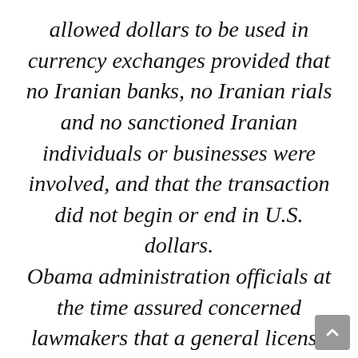allowed dollars to be used in currency exchanges provided that no Iranian banks, no Iranian rials and no sanctioned Iranian individuals or businesses were involved, and that the transaction did not begin or end in U.S. dollars. Obama administration officials at the time assured concerned lawmakers that a general license wouldn't be coming. But the report from the Republican members of the Senate panel showed that a draft of the license was indeed prepared, though it was